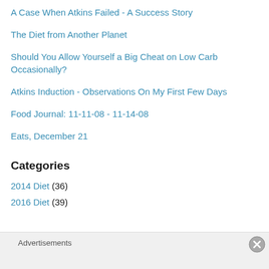A Case When Atkins Failed - A Success Story
The Diet from Another Planet
Should You Allow Yourself a Big Cheat on Low Carb Occasionally?
Atkins Induction - Observations On My First Few Days
Food Journal: 11-11-08 - 11-14-08
Eats, December 21
Categories
2014 Diet (36)
2016 Diet (39)
Advertisements